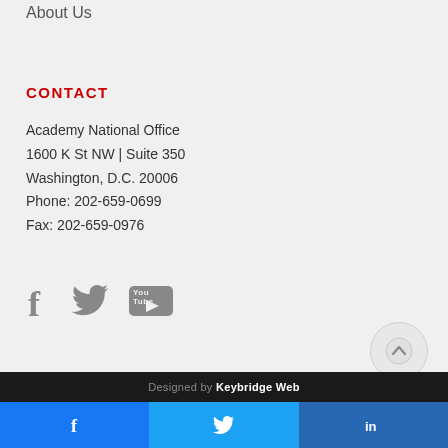About Us
CONTACT
Academy National Office
1600 K St NW | Suite 350
Washington, D.C. 20006
Phone: 202-659-0699
Fax: 202-659-0976
[Figure (other): Social media icons: Facebook, Twitter, YouTube]
[Figure (other): Back to top arrow button (circular)]
Designed by Keybridge Web
Facebook share button, Twitter share button, LinkedIn share button